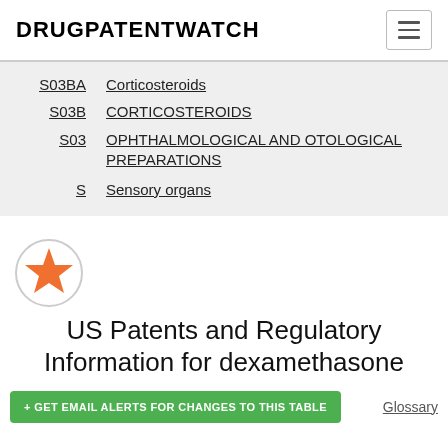DRUGPATENTWATCH
S03BA  Corticosteroids
S03B  CORTICOSTEROIDS
S03  OPHTHALMOLOGICAL AND OTOLOGICAL PREPARATIONS
S  Sensory organs
[Figure (logo): Orange star icon inside a circle]
US Patents and Regulatory Information for dexamethasone
+ GET EMAIL ALERTS FOR CHANGES TO THIS TABLE
Glossary